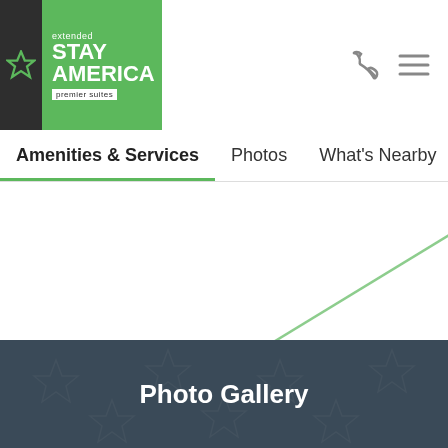[Figure (logo): Extended Stay America Premier Suites logo with green star on dark background and green rectangle]
Amenities & Services  Photos  What's Nearby
[Figure (illustration): Decorative green crossing lines on white background]
Policies >
Photo Gallery